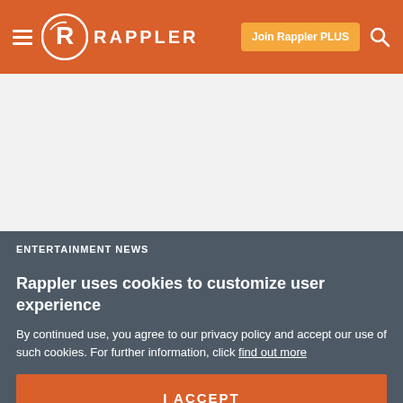Rappler — Join Rappler PLUS
[Figure (screenshot): White/grey blank content area below header]
ENTERTAINMENT NEWS
Rappler uses cookies to customize user experience
By continued use, you agree to our privacy policy and accept our use of such cookies. For further information, click find out more
I ACCEPT